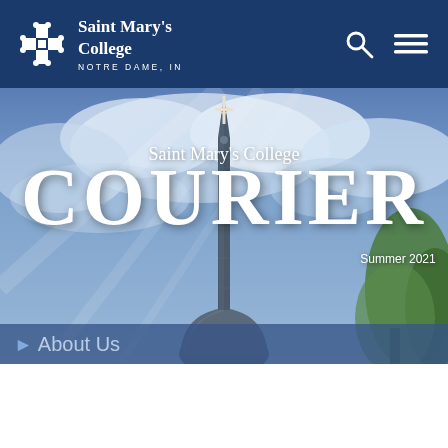Saint Mary's College NOTRE DAME, IN
[Figure (photo): Saint Mary's College Courier magazine cover, Summer 2021, showing a church steeple with a cross against a blue cloudy sky with trees on the right]
About Us